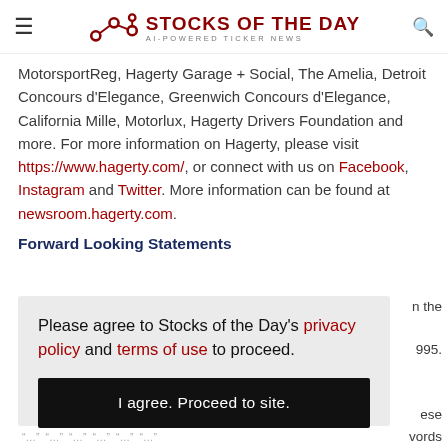STOCKS OF THE DAY — AI-POWERED TICKER NEWS
MotorsportReg, Hagerty Garage + Social, The Amelia, Detroit Concours d'Elegance, Greenwich Concours d'Elegance, California Mille, Motorlux, Hagerty Drivers Foundation and more. For more information on Hagerty, please visit https://www.hagerty.com/, or connect with us on Facebook, Instagram and Twitter. More information can be found at newsroom.hagerty.com.
Forward Looking Statements
Please agree to Stocks of the Day's privacy policy and terms of use to proceed. I agree. Proceed to site.